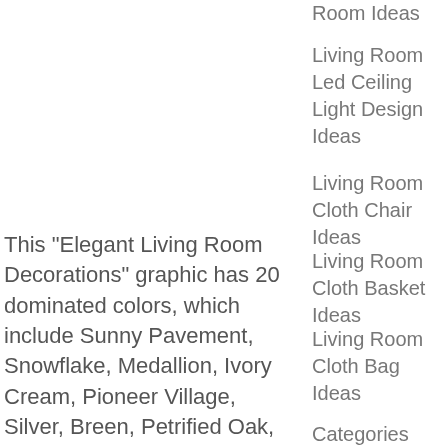Room Ideas
Living Room Led Ceiling Light Design Ideas
Living Room Cloth Chair Ideas
Living Room Cloth Basket Ideas
Living Room Cloth Bag Ideas
This "Elegant Living Room Decorations" graphic has 20 dominated colors, which include Sunny Pavement, Snowflake, Medallion, Ivory Cream, Pioneer Village, Silver, Breen, Petrified Oak, Steel, Bavarian Sweet Mustard, Purple Amethyst, Castaway Cove, Lavender Violet, Tamarind, White,
Categories